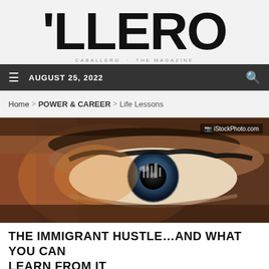'LLERO
AUGUST 25, 2022
Home > POWER & CAREER > Life Lessons
[Figure (photo): Close-up macro photo of a human eye with dramatic lighting, brown skin tones and city reflections in the iris. Photo credit: iStockPhoto.com]
THE IMMIGRANT HUSTLE…AND WHAT YOU CAN LEARN FROM IT
[Figure (photo): Partial view of a cityscape/skyline photo, partially visible at bottom of page. Orange 'Translate »' button overlay in bottom right.]